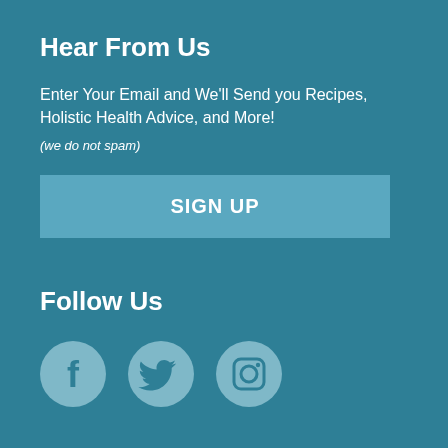Hear From Us
Enter Your Email and We'll Send you Recipes, Holistic Health Advice, and More!
(we do not spam)
SIGN UP
Follow Us
[Figure (illustration): Three circular social media icons: Facebook (f logo), Twitter (bird logo), Instagram (camera logo), arranged horizontally on a teal background.]